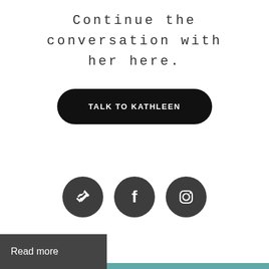Continue the conversation with her here.
[Figure (other): Black pill-shaped call-to-action button with white uppercase text: TALK TO KATHLEEN]
[Figure (other): Three dark grey circular social media icons: handshake/referral icon, Facebook icon, Instagram icon]
Read more